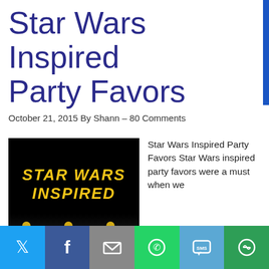Star Wars Inspired Party Favors
October 21, 2015 By Shann – 80 Comments
[Figure (illustration): Black background image with yellow italic bold text reading 'Star Wars Inspired' and partial bottom graphic]
Star Wars Inspired Party Favors Star Wars inspired party favors were a must when we
We use cookies on our website to give you the most relevant experience by remembering your preferences and repeat visits. By clicking "Accept All", you consent to the use of ALL the cookies. However, you may visit "Cookie Settings" to provide a controlled consent.
[Figure (infographic): Social sharing toolbar with Twitter, Facebook, Email, WhatsApp, SMS, and More buttons]